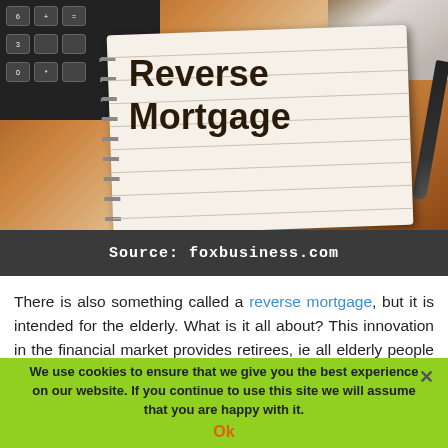[Figure (photo): A notebook with 'Reverse Mortgage' written on it in handwriting, placed on a wooden table alongside a calculator, a marker pen, and some cash/bills. Source caption bar below reads: Source: foxbusiness.com]
Source: foxbusiness.com
There is also something called a reverse mortgage, but it is intended for the elderly. What is it all about? This innovation in the financial market provides retirees, ie all elderly people who
We use cookies to ensure that we give you the best experience on our website. If you continue to use this site we will assume that you are happy with it.
Ok